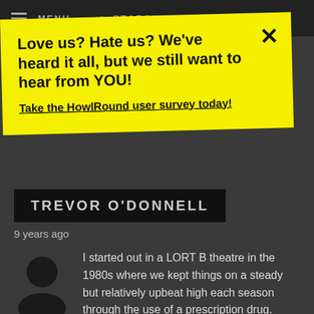MENU   SEARCH
Love us? Hate us? We've heard it all, but we still want to hear from YOU!

Take the HowlRound user survey today!
TREVOR O'DONNELL
9 years ago
I started out in a LORT B theatre in the 1980s where we kept things on a steady but relatively upbeat high each season through the use of a prescription drug.